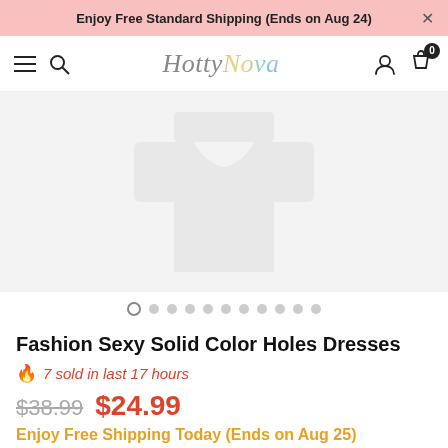Enjoy Free Standard Shipping (Ends on Aug 24) ×
HottyNova — navigation bar with menu, search, user, cart (0)
[Figure (photo): Product image area showing a loading/ghost placeholder of a dress on a light gray background with carousel navigation dots below (11 dots, first dot is outlined/active)]
Fashion Sexy Solid Color Holes Dresses
🔥 7 sold in last 17 hours
$38.99  $24.99
Enjoy Free Shipping Today (Ends on Aug 25)